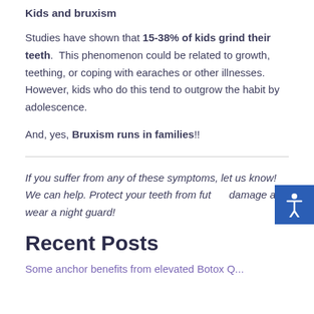Kids and bruxism
Studies have shown that 15-38% of kids grind their teeth.  This phenomenon could be related to growth, teething, or coping with earaches or other illnesses.  However, kids who do this tend to outgrow the habit by adolescence.
And, yes, Bruxism runs in families!!
If you suffer from any of these symptoms, let us know! We can help. Protect your teeth from future damage and wear a night guard!
Recent Posts
Some anchor benefits from elevated Botox Q...